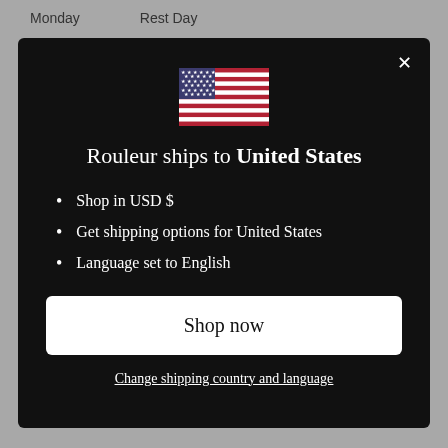Monday    Rest Day
[Figure (illustration): US flag emoji/icon centered in modal]
Rouleur ships to United States
Shop in USD $
Get shipping options for United States
Language set to English
Shop now
Change shipping country and language